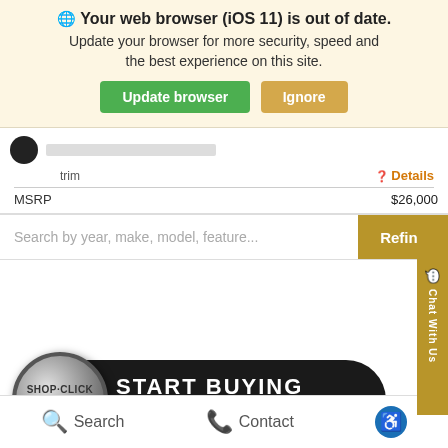[Figure (screenshot): Browser update warning banner with globe icon, bold text 'Your web browser (iOS 11) is out of date.', subtext 'Update your browser for more security, speed and the best experience on this site.', green 'Update browser' button and tan 'Ignore' button]
trim
Details
MSRP    $26,000
Search by year, make, model, feature...
Refine
[Figure (screenshot): Shop-Click Drive button with silver coin logo on left showing 'SHOP·CLICK DRIVE' text, and 'START BUYING PROCESS' text on dark pill-shaped button]
Search
Contact
[Figure (other): Blue accessibility icon circle]